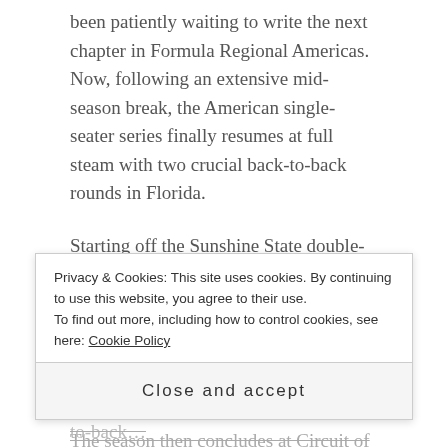been patiently waiting to write the next chapter in Formula Regional Americas. Now, following an extensive mid-season break, the American single-seater series finally resumes at full steam with two crucial back-to-back rounds in Florida.
Starting off the Sunshine State double-header is a visit to Sebring International Raceway this weekend, with the field then making their way south to Homestead-Miami for another dash of racing just one week later.
The season then concludes at Circuit of the Americ...
Privacy & Cookies: This site uses cookies. By continuing to use this website, you agree to their use.
To find out more, including how to control cookies, see here: Cookie Policy
Close and accept